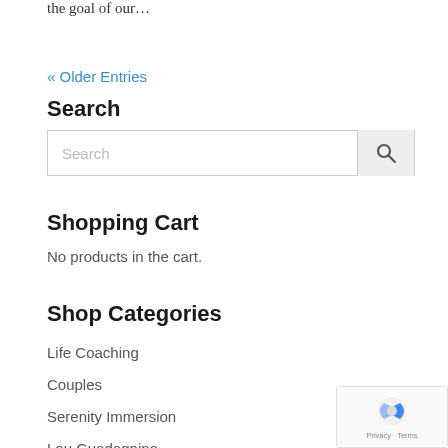the goal of our…
« Older Entries
Search
[Figure (screenshot): Search input box with magnifying glass icon button]
Shopping Cart
No products in the cart.
Shop Categories
Life Coaching
Couples
Serenity Immersion
Lou Guadagnino
Marilyn Guadagnino
[Figure (logo): reCAPTCHA badge with Privacy and Terms links]